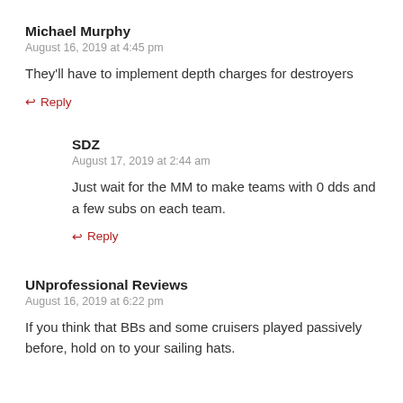Michael Murphy
August 16, 2019 at 4:45 pm
They'll have to implement depth charges for destroyers
↩ Reply
SDZ
August 17, 2019 at 2:44 am
Just wait for the MM to make teams with 0 dds and a few subs on each team.
↩ Reply
UNprofessional Reviews
August 16, 2019 at 6:22 pm
If you think that BBs and some cruisers played passively before, hold on to your sailing hats.